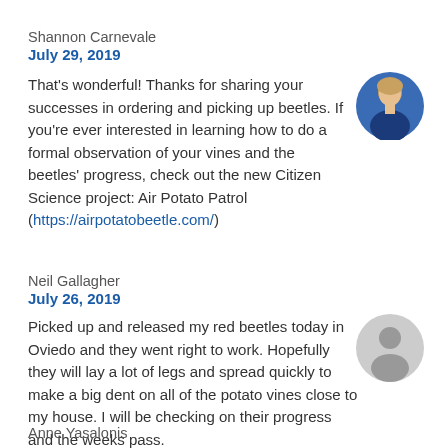Shannon Carnevale
July 29, 2019
That's wonderful! Thanks for sharing your successes in ordering and picking up beetles. If you're ever interested in learning how to do a formal observation of your vines and the beetles' progress, check out the new Citizen Science project: Air Potato Patrol (https://airpotatobeetle.com/)
Neil Gallagher
July 26, 2019
Picked up and released my red beetles today in Oviedo and they went right to work. Hopefully they will lay a lot of legs and spread quickly to make a big dent on all of the potato vines close to my house. I will be checking on their progress and the weeks pass.
Anne Yasalonis